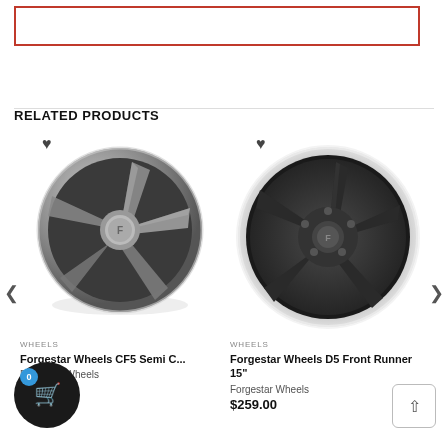[Figure (screenshot): Red-bordered search input box at top of page]
RELATED PRODUCTS
[Figure (photo): Forgestar Wheels CF5 Semi – dark gray five-spoke alloy wheel on white background]
[Figure (photo): Forgestar Wheels D5 Front Runner 15" – black five-spoke wheel with polished lip on white background]
WHEELS
Forgestar Wheels CF5 Semi C...
Forgestar Wheels
$439.00
WHEELS
Forgestar Wheels D5 Front Runner 15"
Forgestar Wheels
$259.00